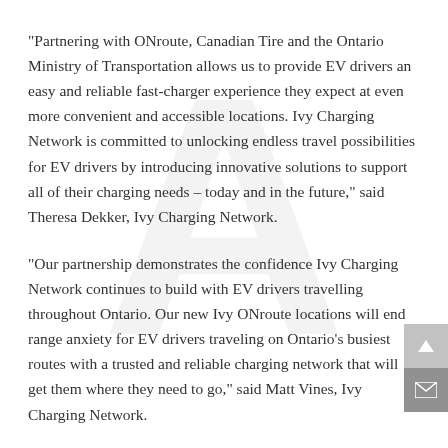“Partnering with ONroute, Canadian Tire and the Ontario Ministry of Transportation allows us to provide EV drivers an easy and reliable fast-charger experience they expect at even more convenient and accessible locations. Ivy Charging Network is committed to unlocking endless travel possibilities for EV drivers by introducing innovative solutions to support all of their charging needs – today and in the future,” said Theresa Dekker, Ivy Charging Network.
“Our partnership demonstrates the confidence Ivy Charging Network continues to build with EV drivers travelling throughout Ontario. Our new Ivy ONroute locations will end range anxiety for EV drivers traveling on Ontario’s busiest routes with a trusted and reliable charging network that will get them where they need to go,” said Matt Vines, Ivy Charging Network.